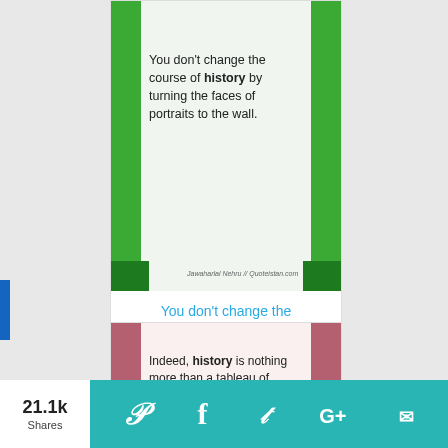[Figure (illustration): Quote card with green vertical bars on sides, light green background, text reading: You don't change the course of history by turning the faces of portraits to the wall. Attributed to Jawaharlal Nehru // Quoteistan.com]
You don't change the course of #his...
[Figure (illustration): Quote card with pink/mauve vertical bars on sides, light pink background, text reading: Indeed, history is nothing more than a tableau of crimes and misfortunes. Attributed to Voltaire // Quoteistan.com]
21.1k Shares